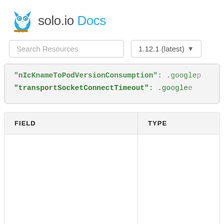[Figure (logo): solo.io Docs logo with owl icon]
Search Resources | 1.12.1 (latest)
"transportSocketConnectTimeout": .google
| FIELD | TYPE |
| --- | --- |
|  |  |